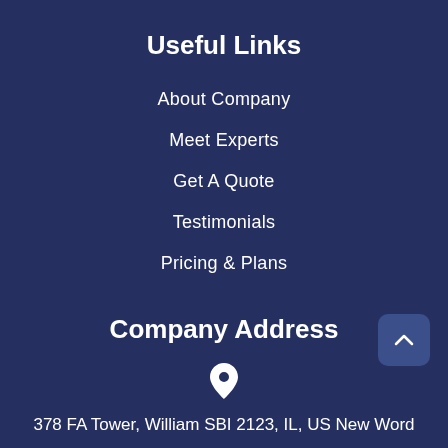Useful Links
About Company
Meet Experts
Get A Quote
Testimonials
Pricing & Plans
Company Address
[Figure (illustration): Map pin / location icon]
378 FA Tower, William SBI 2123, IL, US New Word
[Figure (illustration): Phone / telephone icon]